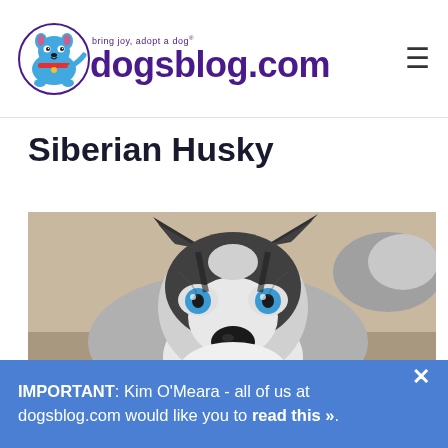dogsblog.com - bring joy, adopt a dog
Siberian Husky
[Figure (photo): A Siberian Husky dog looking up at the camera with striking blue eyes, black and white fur, pointed ears, and a fluffy tail visible in the background. The dog is sitting on a concrete surface.]
IMPORTANT: Kim O'Meara - all of us at dogsblog.com would like you to read this ».